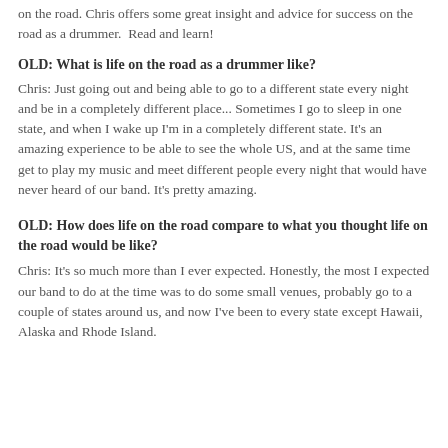on the road. Chris offers some great insight and advice for success on the road as a drummer.  Read and learn!
OLD: What is life on the road as a drummer like?
Chris: Just going out and being able to go to a different state every night and be in a completely different place... Sometimes I go to sleep in one state, and when I wake up I'm in a completely different state. It's an amazing experience to be able to see the whole US, and at the same time get to play my music and meet different people every night that would have never heard of our band. It's pretty amazing.
OLD: How does life on the road compare to what you thought life on the road would be like?
Chris: It's so much more than I ever expected. Honestly, the most I expected our band to do at the time was to do some small venues, probably go to a couple of states around us, and now I've been to every state except Hawaii, Alaska and Rhode Island.